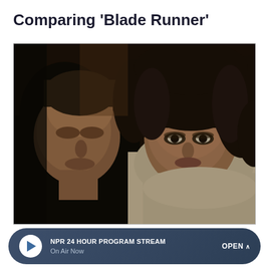Comparing ‘Blade Runner’
[Figure (photo): A still from Blade Runner showing two actors — a man with short hair on the left wearing a dark jacket, and a woman with curly dark hair on the right wearing a light-colored blouse, both with serious expressions in a moody, dimly lit scene.]
NPR 24 HOUR PROGRAM STREAM
On Air Now
OPEN ∧